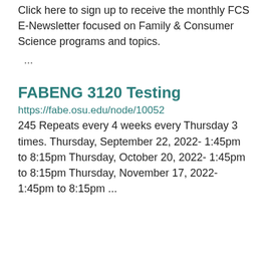Click here to sign up to receive the monthly FCS E-Newsletter focused on Family & Consumer Science programs and topics.
...
FABENG 3120 Testing
https://fabe.osu.edu/node/10052
245 Repeats every 4 weeks every Thursday 3 times. Thursday, September 22, 2022- 1:45pm to 8:15pm Thursday, October 20, 2022- 1:45pm to 8:15pm Thursday, November 17, 2022- 1:45pm to 8:15pm ...